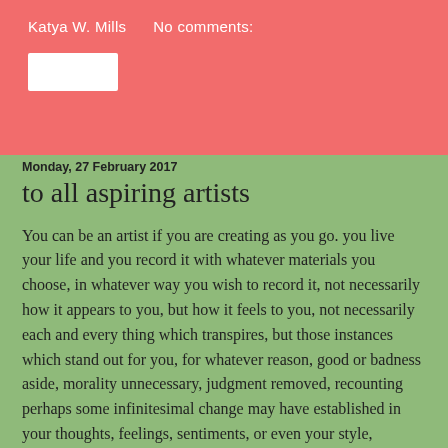Katya W. Mills    No comments:
Monday, 27 February 2017
to all aspiring artists
You can be an artist if you are creating as you go. you live your life and you record it with whatever materials you choose, in whatever way you wish to record it, not necessarily how it appears to you, but how it feels to you, not necessarily each and every thing which transpires, but those instances which stand out for you, for whatever reason, good or badness aside, morality unnecessary, judgment removed, recounting perhaps some infinitesimal change may have established in your thoughts, feelings, sentiments, or even your style, behavior, fashion, or manner of dreaming or daydreaming, it's all up for grabs, whether it pushed you forward, pulled you in or dropped you out, whether it silenced you, gave you pause, made you more vocal or expressively settled you into new rhythms or arrhythms. you can be an artist in any medium but if you wanna be an artist try to be an artist every day. the chore